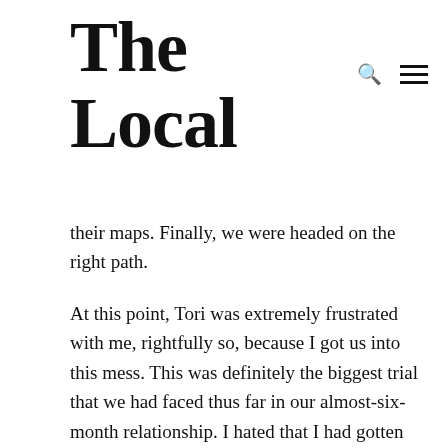The Local
their maps. Finally, we were headed on the right path.
At this point, Tori was extremely frustrated with me, rightfully so, because I got us into this mess. This was definitely the biggest trial that we had faced thus far in our almost-six-month relationship. I hated that I had gotten us in this mess, but I couldn't stop thinking about the faithfulness of the Lord and how He always provides for us. He literally was the lamp unto our feet and light unto our steps on this night.